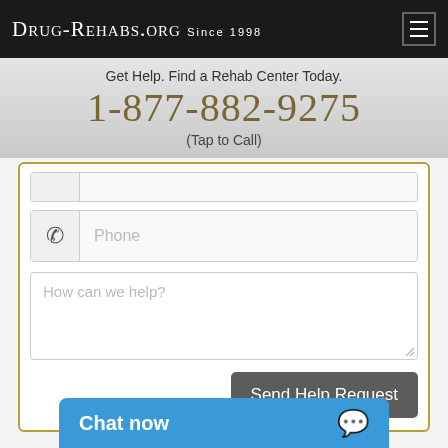Drug-Rehabs.org Since 1998
Get Help. Find a Rehab Center Today.
1-877-882-9275
(Tap to Call)
[Figure (screenshot): Web form with phone field placeholder and textarea saying 'How can we help?' and a 'Send Help Request' button]
Substance Abuse Treatment Centers in Delaware
Chat now